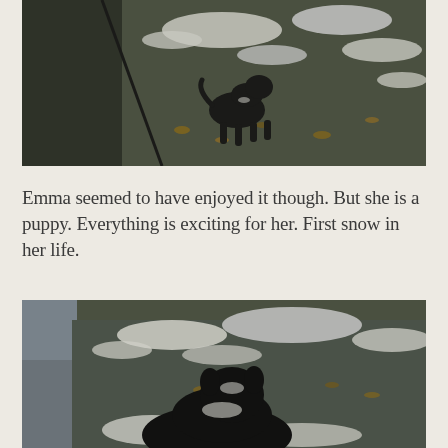[Figure (photo): A black dog standing on a path next to a grassy area lightly dusted with snow, with autumn leaves scattered on the ground.]
Emma seemed to have enjoyed it though. But she is a puppy. Everything is exciting for her. First snow in her life.
[Figure (photo): A black dog lying or sitting on a snow-dusted grassy slope near a body of water, with autumn leaves on the ground.]